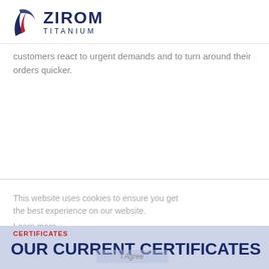[Figure (logo): Zirom Titanium logo with red and blue swoosh icon and bold dark blue ZIROM text with TITANIUM subtitle]
customers react to urgent demands and to turn around their orders quicker.
This website uses cookies to ensure you get the best experience on our website. Learn more
CERTIFICATES
OUR CURRENT CERTIFICATES